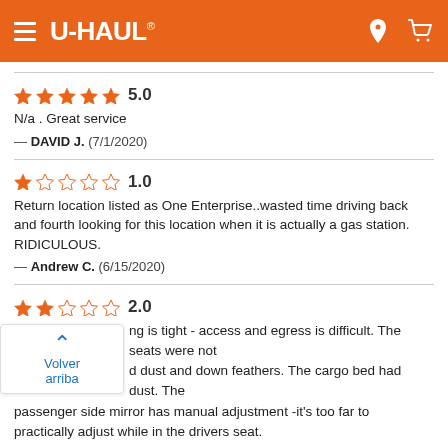U-HAUL
5.0
N/a . Great service
— DAVID J.  (7/1/2020)
1.0
Return location listed as One Enterprise..wasted time driving back and fourth looking for this location when it is actually a gas station. RIDICULOUS.
— Andrew C.  (6/15/2020)
2.0
...ng is tight - access and egress is difficult. The seats were not ...d dust and down feathers. The cargo bed had dust. The passenger side mirror has manual adjustment -it's too far to practically adjust while in the drivers seat.